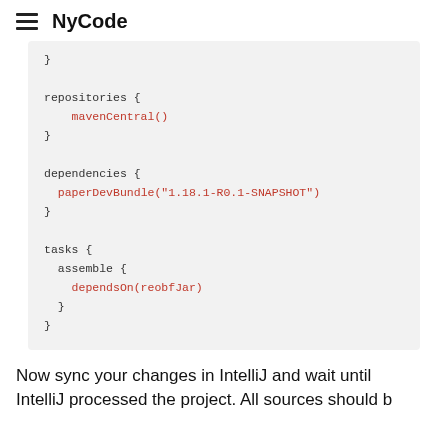NyCode
[Figure (screenshot): Code block showing Gradle build script with repositories (mavenCentral()), dependencies (paperDevBundle), and tasks (assemble with dependsOn(reobfJar))]
Now sync your changes in IntelliJ and wait until IntelliJ processed the project. All sources should be